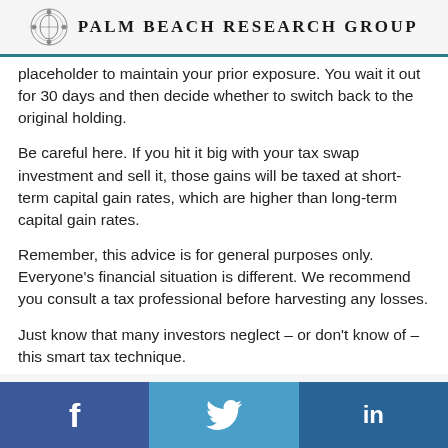Palm Beach Research Group
placeholder to maintain your prior exposure. You wait it out for 30 days and then decide whether to switch back to the original holding.
Be careful here. If you hit it big with your tax swap investment and sell it, those gains will be taxed at short-term capital gain rates, which are higher than long-term capital gain rates.
Remember, this advice is for general purposes only. Everyone’s financial situation is different. We recommend you consult a tax professional before harvesting any losses.
Just know that many investors neglect – or don’t know of – this smart tax technique.
f  [Twitter bird]  in